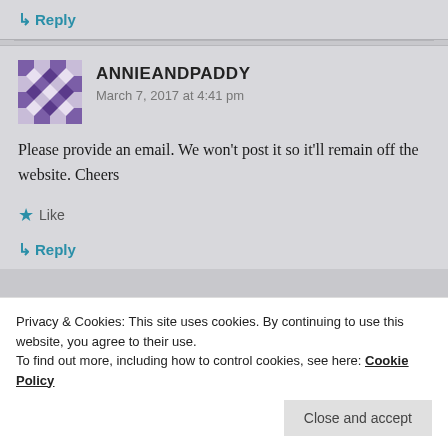↳ Reply
ANNIEANDPADDY
March 7, 2017 at 4:41 pm
Please provide an email. We won't post it so it'll remain off the website. Cheers
★ Like
↳ Reply
Privacy & Cookies: This site uses cookies. By continuing to use this website, you agree to their use.
To find out more, including how to control cookies, see here: Cookie Policy
Close and accept
a British citizen, please. Thanks